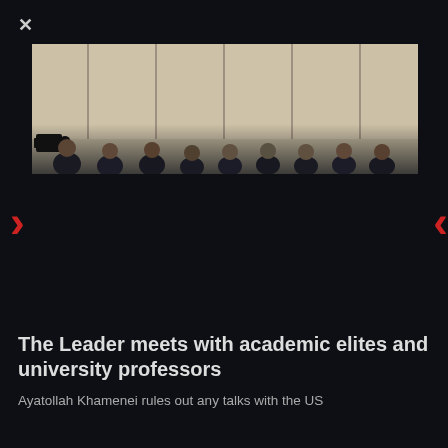[Figure (photo): A photograph of a group of people (academic elites and university professors) seated in rows, with a beige/cream paneled wall in the background. A camera is visible on the left side. The bottom portion of the image fades into the dark background.]
The Leader meets with academic elites and university professors
Ayatollah Khamenei rules out any talks with the US